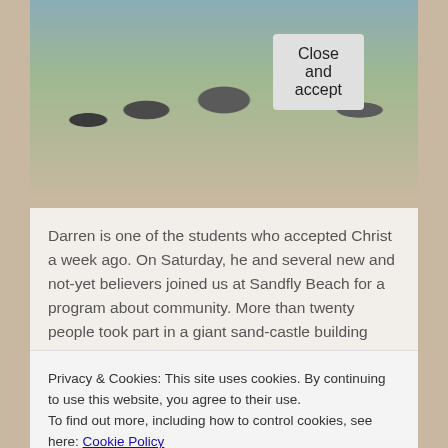[Figure (photo): Group of students/people gathered outdoors, some crouching and working on something on the ground, diverse group including adults and young people]
Darren is one of the students who accepted Christ a week ago. On Saturday, he and several new and not-yet believers joined us at Sandfly Beach for a program about community. More than twenty people took part in a giant sand-castle building effort, followed by sand-dune jumping and a pick-up game of rugby. "What will you do to invest in this community
Privacy & Cookies: This site uses cookies. By continuing to use this website, you agree to their use.
To find out more, including how to control cookies, see here: Cookie Policy
Close and accept
[Figure (photo): Bottom portion of a photo showing people at the beach]